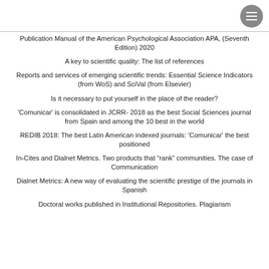Publication Manual of the American Psychological Association APA, (Seventh Edition) 2020
A key to scientific quality: The list of references
Reports and services of emerging scientific trends: Essential Science Indicators (from WoS) and SciVal (from Elsevier)
Is it necessary to put yourself in the place of the reader?
'Comunicar' is consolidated in JCRR- 2018 as the best Social Sciences journal from Spain and among the 10 best in the world
REDIB 2018: The best Latin American indexed journals: 'Comunicar' the best positioned
In-Cites and Dialnet Metrics. Two products that “rank” communities. The case of Communication
Dialnet Metrics: A new way of evaluating the scientific prestige of the journals in Spanish
Doctoral works published in Institutional Repositories. Plagiarism